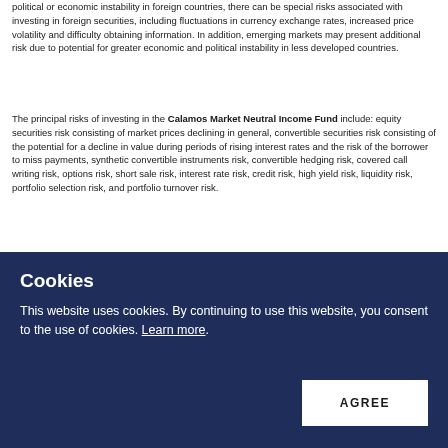political or economic instability in foreign countries, there can be special risks associated with investing in foreign securities, including fluctuations in currency exchange rates, increased price volatility and difficulty obtaining information. In addition, emerging markets may present additional risk due to potential for greater economic and political instability in less developed countries.
The principal risks of investing in the Calamos Market Neutral Income Fund include: equity securities risk consisting of market prices declining in general, convertible securities risk consisting of the potential for a decline in value during periods of rising interest rates and the risk of the borrower to miss payments, synthetic convertible instruments risk, convertible hedging risk, covered call writing risk, options risk, short sale risk, interest rate risk, credit risk, high yield risk, liquidity risk, portfolio selection risk, and portfolio turnover risk.
The principal risks of investing the Calamos Hedged Equity Fund include: covered call writing risk, options risk (see definition below), equity securities risk, correlation risk, mid-sized company risk, interest rate risk, credit risk, liquidity risk, portfolio turnover risk, portfolio selection risk, foreign securities risk, American depository receipts, and
Cookies
This website uses cookies. By continuing to use this website, you consent to the use of cookies. Learn more.
AGREE